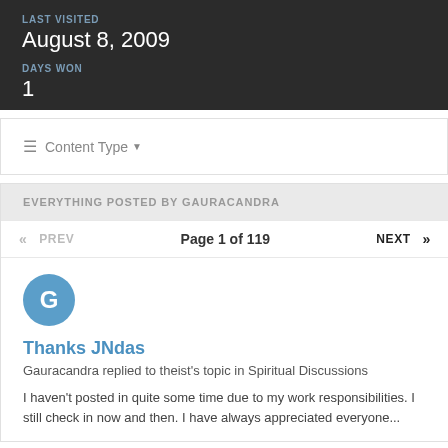LAST VISITED
August 8, 2009
DAYS WON
1
≡  Content Type ▾
EVERYTHING POSTED BY GAURACANDRA
« PREV   Page 1 of 119   NEXT »
[Figure (other): Avatar circle with letter G in steel blue]
Thanks JNdas
Gauracandra replied to theist's topic in Spiritual Discussions
I haven't posted in quite some time due to my work responsibilities. I still check in now and then. I have always appreciated everyone...